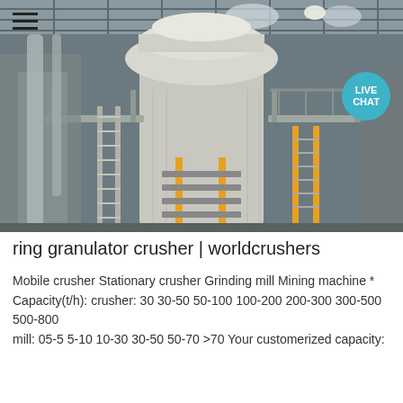[Figure (photo): Industrial photo of a large vertical grinding mill inside a factory building. The mill is cream/white colored with multiple levels of metal walkways and ladders with yellow handrails. The facility has a steel truss ceiling with skylights.]
ring granulator crusher | worldcrushers
Mobile crusher Stationary crusher Grinding mill Mining machine * Capacity(t/h): crusher: 30 30-50 50-100 100-200 200-300 300-500 500-800 mill: 05-5 5-10 10-30 30-50 50-70 >70 Your customerized capacity: